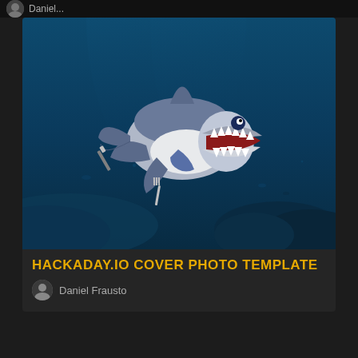[Figure (screenshot): Dark social media / hackaday.io page screenshot showing a card with an underwater shark illustration holding a knife and fork, blue ocean background]
HACKADAY.IO COVER PHOTO TEMPLATE
Daniel Frausto